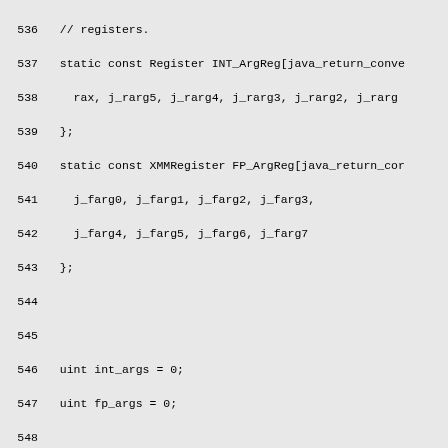536  // registers.
537  static const Register INT_ArgReg[java_return_conve
538    rax, j_rarg5, j_rarg4, j_rarg3, j_rarg2, j_rarg
539  };
540  static const XMMRegister FP_ArgReg[java_return_cor
541    j_farg0, j_farg1, j_farg2, j_farg3,
542    j_farg4, j_farg5, j_farg6, j_farg7
543  };
544
545
546  uint int_args = 0;
547  uint fp_args = 0;
548
549  for (int i = 0; i < total_args_passed; i++) {
550    switch (sig_bt[i]) {
551    case T_BOOLEAN:
552    case T_CHAR:
553    case T_BYTE:
554    case T_SHORT:
555    case T_INT:
556      if (int_args < Argument::n_int_register_parame
557        regs[i].set1(INT_ArgReg[int_args]->as_VMReg
558        int_args++;
559      } else {
560        return -1;
561      }
562    break;
563    case T_VOID:
564      // halves of T_LONG or T_DOUBLE
565      assert(i != 0 && (sig_bt[i - 1] == T_LONG ||